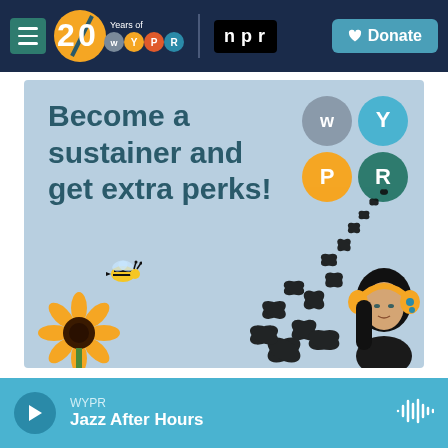[Figure (screenshot): WYPR public radio website screenshot showing navigation header with hamburger menu, WYPR 20th anniversary logo, NPR logo, and Donate button on dark navy background]
[Figure (illustration): WYPR promotional banner on light blue background with large bold text 'Become a sustainer and get extra perks!' with WYPR logo circles (W, Y, P, R), butterflies, a bee, a sunflower, and a woman listening with headphones]
Become a sustainer and get extra perks!
[Figure (screenshot): Audio player bar at bottom showing WYPR Jazz After Hours with play button and waveform icon on teal background]
WYPR
Jazz After Hours